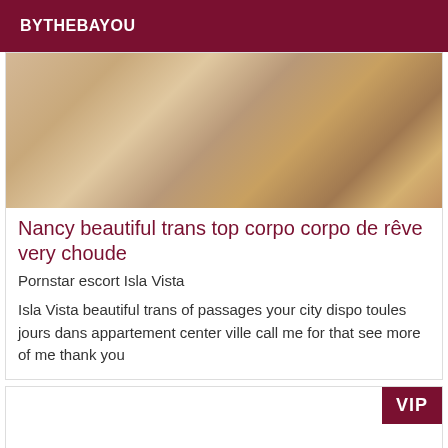BYTHEBAYOU
[Figure (photo): Close-up photo of feet/legs on a sofa with leopard print rug visible]
Nancy beautiful trans top corpo corpo de rêve very choude
Pornstar escort Isla Vista
Isla Vista beautiful trans of passages your city dispo toules jours dans appartement center ville call me for that see more of me thank you
[Figure (other): Second listing card with VIP badge, image area empty/white]